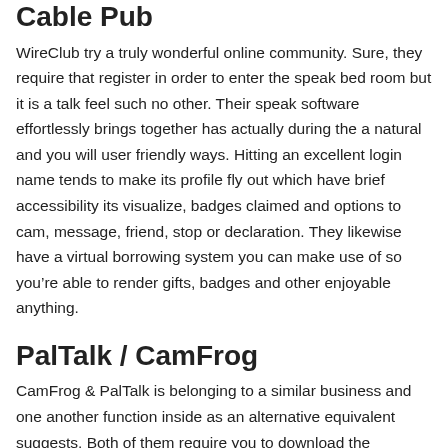Cable Pub
WireClub try a truly wonderful online community. Sure, they require that register in order to enter the speak bed room but it is a talk feel such no other. Their speak software effortlessly brings together has actually during the a natural and you will user friendly ways. Hitting an excellent login name tends to make its profile fly out which have brief accessibility its visualize, badges claimed and options to cam, message, friend, stop or declaration. They likewise have a virtual borrowing system you can make use of so you’re able to render gifts, badges and other enjoyable anything.
PalTalk / CamFrog
CamFrog & PalTalk is belonging to a similar business and one another function inside as an alternative equivalent suggests. Both of them require you to download the software and you may sign up for totally free. After connected the newest default